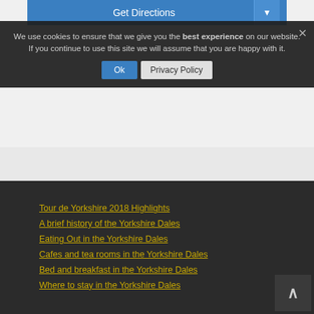Get Directions
We use cookies to ensure that we give you the best experience on our website. If you continue to use this site we will assume that you are happy with it.
Ok | Privacy Policy
Tour de Yorkshire 2018 Highlights
A brief history of the Yorkshire Dales
Eating Out in the Yorkshire Dales
Cafes and tea rooms in the Yorkshire Dales
Bed and breakfast in the Yorkshire Dales
Where to stay in the Yorkshire Dales